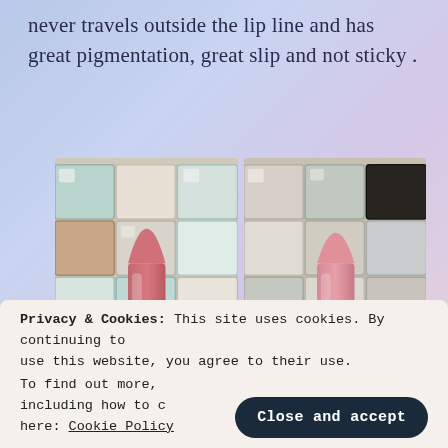never travels outside the lip line and has great pigmentation, great slip and not sticky .
[Figure (photo): Two photos of pink lipsticks in blue packaging against a tiled background. Left photo shows a matte pink lipstick bullet extended from a gold and blue tube. Right photo shows a similar glossy pink lipstick in a gold and blue tube.]
Privacy & Cookies: This site uses cookies. By continuing to use this website, you agree to their use.
To find out more, including how to control cookies, see here: Cookie Policy